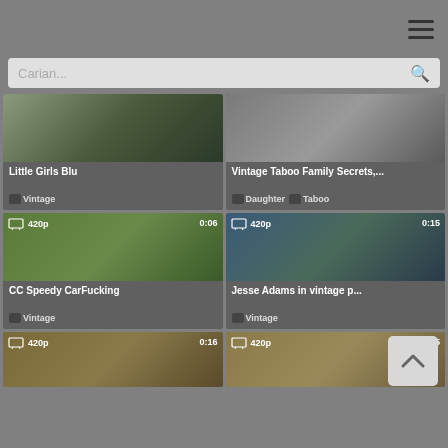[Figure (screenshot): Mobile video website screenshot showing search bar with 'Carian...' placeholder and grid of video thumbnails with titles, tags, quality badges and durations]
Carian...
Little Girls Blu
Vintage
Vintage Taboo Family Secrets,...
Daughter
Taboo
CC Speedy CarFucking
Vintage
Jesse Adams in vintage p...
Vintage
420p 0:16
420p 1:25